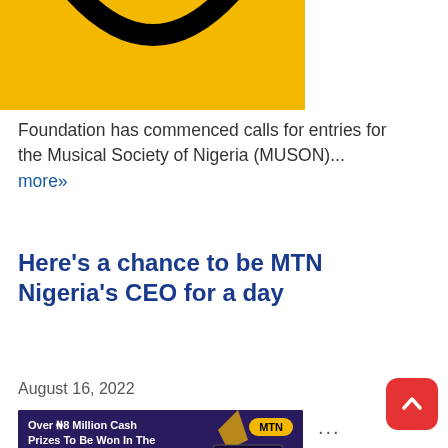[Figure (photo): Partial view of MTN yellow logo/image at the top of the page]
Foundation has commenced calls for entries for the Musical Society of Nigeria (MUSON)... more»
Here's a chance to be MTN Nigeria's CEO for a day
August 16, 2022
[Figure (photo): MTN mPulse Spelling Bee advertisement showing a smiling girl with glasses against a purple background, with text 'Over N8 Million Cash Prizes To Be Won In The MTN mPulse Spelling Bee' and MTN logo badge]
...